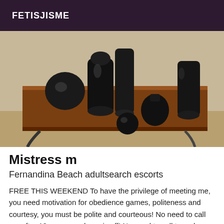FETISJISME
[Figure (photo): Photo of several black objects on a wooden table with ornate metal legs]
Mistress m
Fernandina Beach adultsearch escorts
FREE THIS WEEKEND To have the privilege of meeting me, you need motivation for obedience games, politeness and courtesy, you must be polite and courteous! No need to call me after 10 p.m., my phone is off! No need to call to make an appointment in 15 days!